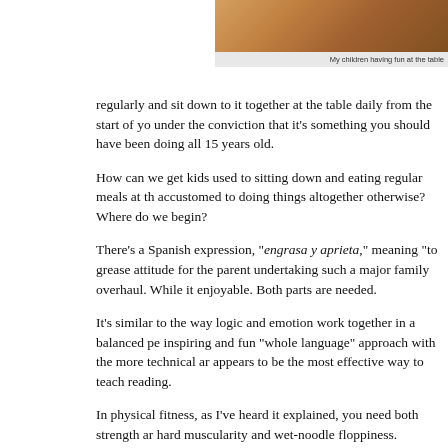[Figure (photo): Partial photo of children at a table, cropped at top]
My children having fun at the table
regularly and sit down to it together at the table daily from the start of yo under the conviction that it's something you should have been doing all 15 years old.
How can we get kids used to sitting down and eating regular meals at th accustomed to doing things altogether otherwise? Where do we begin?
There's a Spanish expression, "engrasa y aprieta," meaning "to grease attitude for the parent undertaking such a major family overhaul. While it enjoyable. Both parts are needed.
It's similar to the way logic and emotion work together in a balanced pe inspiring and fun "whole language" approach with the more technical ar appears to be the most effective way to teach reading.
In physical fitness, as I've heard it explained, you need both strength ar hard muscularity and wet-noodle floppiness. Likewise, in healthy relatio balance acceptance and giving with honesty and personal boundaries.
Reforming family eating is another one of those times when neither extr balance of both together.
Are you setting out wondering what reasons children could possibly find family? You are going to have to challenge them and make some dema building new, constraining habits. It requires them to sit still, be polite, b